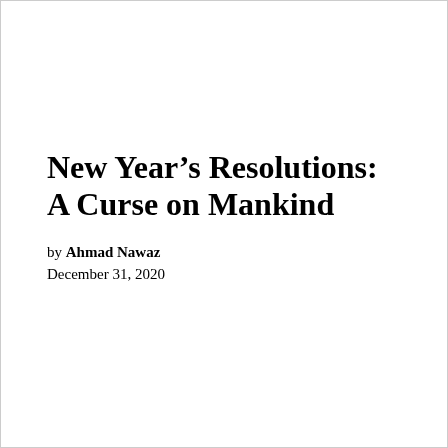New Year's Resolutions: A Curse on Mankind
by Ahmad Nawaz
December 31, 2020